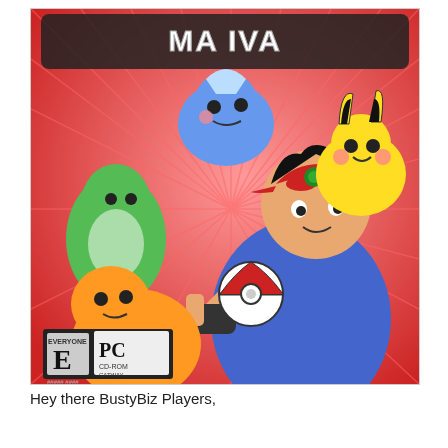[Figure (illustration): Pokemon game cover art showing Ash Ketchum pointing forward holding a Pokeball, surrounded by Treecko, Mudkip, Torchic, and Pikachu on a red radial burst background. Title text partially visible at top reading 'MA... ...IVA'. ESRB E rating and PC CD-ROM logos visible at bottom left.]
Hey there BustyBiz Players,